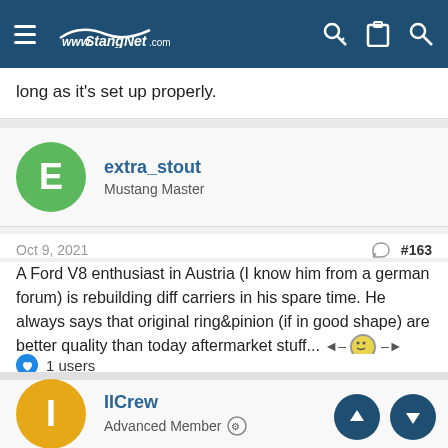StangNet.com
long as it's set up properly.
extra_stout
Mustang Master
Oct 9, 2021  #163
A Ford V8 enthusiast in Austria (I know him from a german forum) is rebuilding diff carriers in his spare time. He always says that original ring&pinion (if in good shape) are better quality than today aftermarket stuff...
1 users
IICrew
Advanced Member